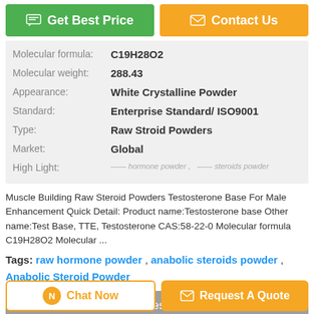[Figure (other): Get Best Price button (green) and Contact Us button (orange) at top]
| Molecular formula: | C19H28O2 |
| Molecular weight: | 288.43 |
| Appearance: | White Crystalline Powder |
| Standard: | Enterprise Standard/ ISO9001 |
| Type: | Raw Stroid Powders |
| Market: | Global |
| High Light: | —— , —— |
Muscle Building Raw Steroid Powders Testosterone Base For Male Enhancement Quick Detail: Product name:Testosterone base Other name:Test Base, TTE, Testosterone CAS:58-22-0 Molecular formula C19H28O2 Molecular ...
Tags: raw hormone powder , anabolic steroids powder , Anabolic Steroid Powder
[Figure (other): Product Description > grey button]
[Figure (other): Chat Now button (outlined orange) and Request A Quote button (orange) at bottom]